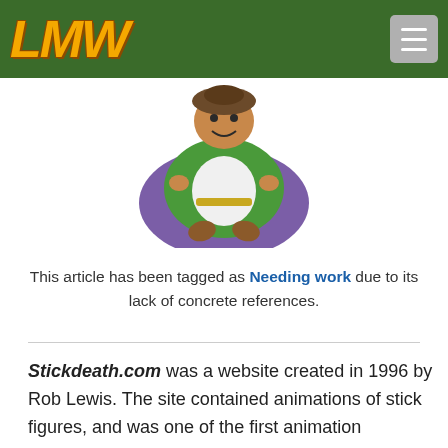LMW
[Figure (illustration): Cartoon character illustration — a rotund figure in a green dress with purple cape, holding something, viewed from below]
This article has been tagged as Needing work due to its lack of concrete references.
Stickdeath.com was a website created in 1996 by Rob Lewis. The site contained animations of stick figures, and was one of the first animation websites, and stick-figure related websites. While the site was known mainly for its animations, it also had its own games. The known games were Crackhouse Cleanup, Escape from Greenville, S.W.A.T. Sticks with